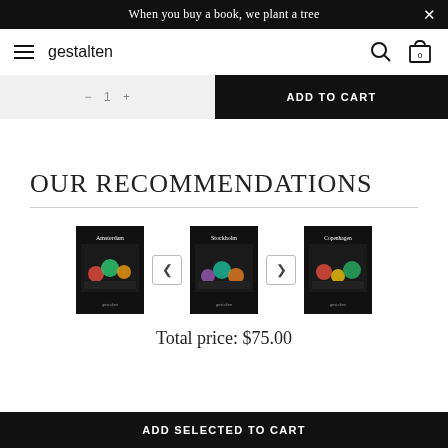When you buy a book, we plant a tree
gestalten
ADD TO CART
OUR RECOMMENDATIONS
[Figure (illustration): Three book product thumbnails for Amsterdam, Stockholm and Copenhagen with navigation arrows between them]
Total price: $75.00
ADD SELECTED TO CART